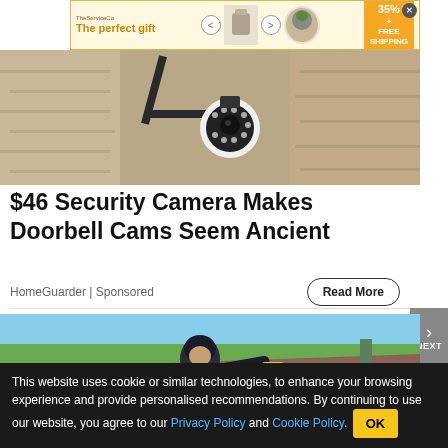[Figure (screenshot): Advertisement banner: 'The perfect gift' with product images, 35% off and FREE SHIPPING offer]
[Figure (photo): Security camera mounted on wall bracket against stone/concrete wall background]
$46 Security Camera Makes Doorbell Cams Seem Ancient
HomeGuarder | Sponsored
Read More
[Figure (photo): Person in dark hoodie working on a rooftop with a power tool, trees and sky in background]
This website uses cookie or similar technologies, to enhance your browsing experience and provide personalised recommendations. By continuing to use our website, you agree to our Privacy Policy and Cookie Policy.